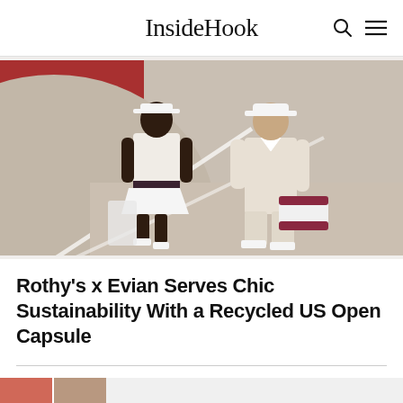InsideHook
[Figure (photo): Two models walking on a tennis court. Left figure is a woman wearing a white tennis outfit with visor hat and carrying a racket bag. Right figure is a man in cream polo shirt, cream trousers, white sneakers, carrying a white and maroon tennis bag. Background features red/maroon curved wall and beige court surface.]
Rothy's x Evian Serves Chic Sustainability With a Recycled US Open Capsule